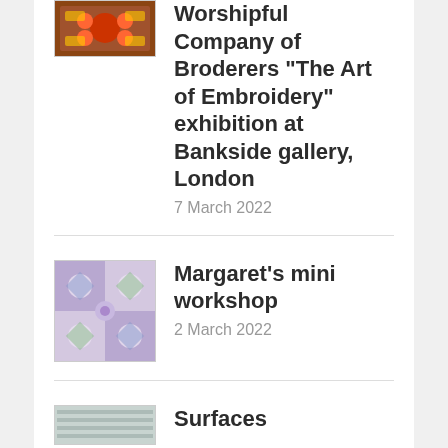Worshipful Company of Broderers “The Art of Embroidery” exhibition at Bankside gallery, London
Margaret’s mini workshop
Surfaces